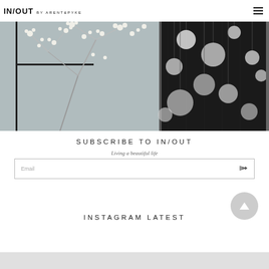IN/OUT BY ARENT&PYKE
[Figure (photo): Interior design photograph split into two panels: left panel showing white flowering branches against a grey-blue wall with a dark framed window, right panel showing a dark artistic print with white circular/floral shapes hanging as pendant lights]
SUBSCRIBE TO IN/OUT
Living a beautiful life
Email
INSTAGRAM LATEST